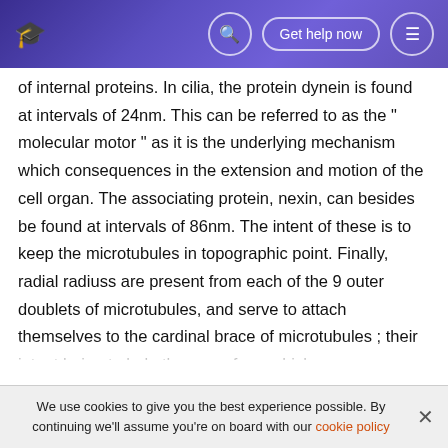Get help now
of internal proteins. In cilia, the protein dynein is found at intervals of 24nm. This can be referred to as the " molecular motor " as it is the underlying mechanism which consequences in the extension and motion of the cell organ. The associating protein, nexin, can besides be found at intervals of 86nm. The intent of these is to keep the microtubules in topographic point. Finally, radial radiuss are present from each of the 9 outer doublets of microtubules, and serve to attach themselves to the cardinal brace of microtubules ; their intent being to help the wave form which comes approximately as a consequence of the actions of dynein (Strayer & Anderson, 2005). Exlore ation
We use cookies to give you the best experience possible. By continuing we'll assume you're on board with our cookie policy